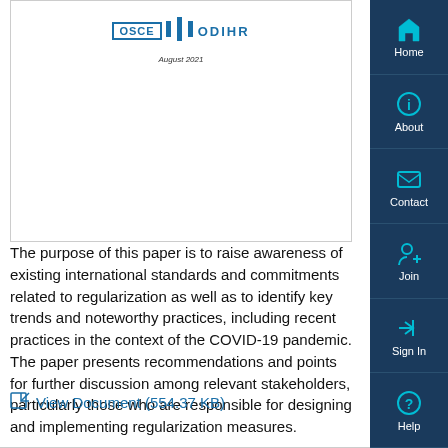[Figure (logo): OSCE ODIHR logo with August 2021 date, document cover preview]
The purpose of this paper is to raise awareness of existing international standards and commitments related to regularization as well as to identify key trends and noteworthy practices, including recent practices in the context of the COVID-19 pandemic. The paper presents recommendations and points for further discussion among relevant stakeholders, particularly those who are responsible for designing and implementing regularization measures.
View Document (554.37 KB)